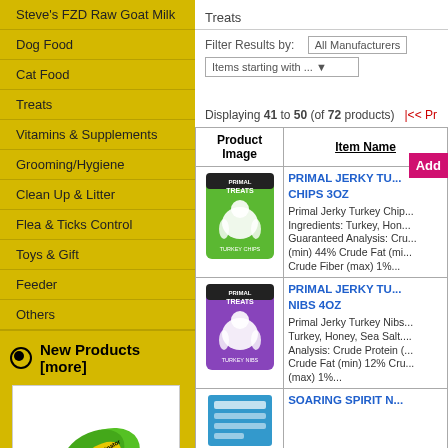Steve's FZD Raw Goat Milk
Dog Food
Cat Food
Treats
Vitamins & Supplements
Grooming/Hygiene
Clean Up & Litter
Flea & Ticks Control
Toys & Gift
Feeder
Others
New Products [more]
[Figure (photo): FURminator deshedding tool for small dogs, green with blue blade]
FURminator - Small Dogs Short hair deshedding Tool
HKD338
Treats
Filter Results by:
All Manufacturers
Items starting with ...
Add
Displaying 41 to 50 (of 72 products)
| Product Image | Item Name |
| --- | --- |
| [Primal green bag image] | PRIMAL JERKY TU... CHIPS 3OZ
Primal Jerky Turkey Chip... Ingredients: Turkey, Hon... Guaranteed Analysis: Cru... (min) 44% Crude Fat (mi... Crude Fiber (max) 1%... |
| [Primal purple bag image] | PRIMAL JERKY TU... NIBS 4OZ
Primal Jerky Turkey Nibs... Turkey, Honey, Sea Salt.... Analysis: Crude Protein (... Crude Fat (min) 12% Cru... (max) 1%... |
| [Soaring Spirit image] | SOARING SPIRIT N... |